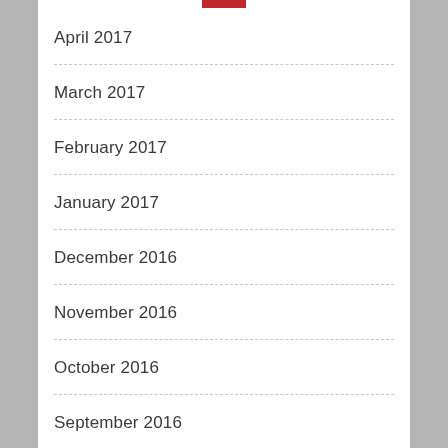April 2017
March 2017
February 2017
January 2017
December 2016
November 2016
October 2016
September 2016
August 2016